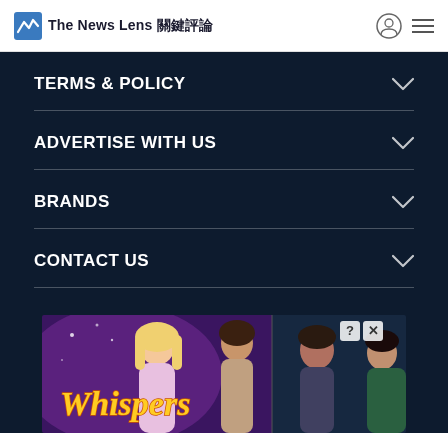The News Lens 關鍵評論
TERMS & POLICY
ADVERTISE WITH US
BRANDS
CONTACT US
[Figure (illustration): Whispers game advertisement banner showing romantic illustrated characters and the word Whispers in stylized text, with close/info buttons in top right corner]